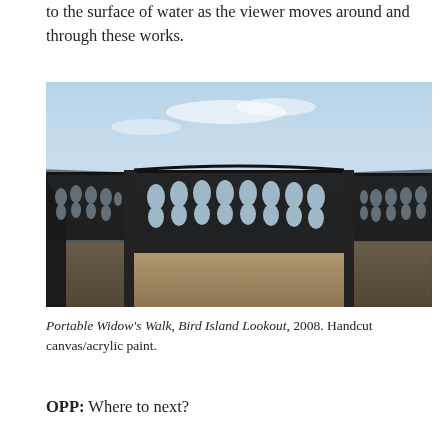to the surface of water as the viewer moves around and through these works.
[Figure (photo): Outdoor photograph of a decorative black wrought iron fence with ornate floral/leaf cutout patterns, installed on a rocky hillside lookout overlooking the ocean. The fence curves around in a U-shape with two vertical posts. Sky and open water are visible in the background.]
Portable Widow's Walk, Bird Island Lookout, 2008. Handcut canvas/acrylic paint.
OPP: Where to next?